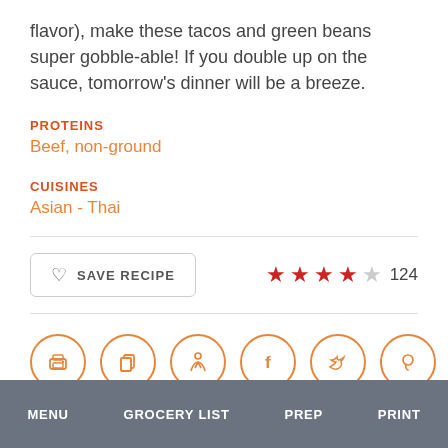flavor), make these tacos and green beans super gobble-able! If you double up on the sauce, tomorrow's dinner will be a breeze.
PROTEINS
Beef, non-ground
CUISINES
Asian - Thai
[Figure (infographic): Save Recipe button with heart icon and star rating showing 4 out of 5 stars with 124 reviews]
[Figure (infographic): Row of 6 circular icon buttons: print, copy, figure/person, Facebook, Twitter, Pinterest]
MENU   GROCERY LIST   PREP   PRINT